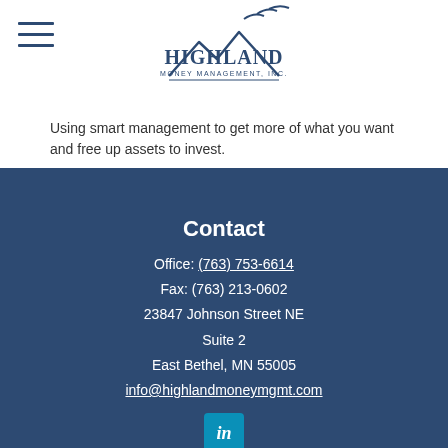[Figure (logo): Highland Money Management, Inc. logo with mountain/bird graphic above the company name]
Using smart management to get more of what you want and free up assets to invest.
Contact
Office: (763) 753-6614
Fax: (763) 213-0602
23847 Johnson Street NE
Suite 2
East Bethel, MN 55005
info@highlandmoneymgmt.com
[Figure (logo): LinkedIn icon button]